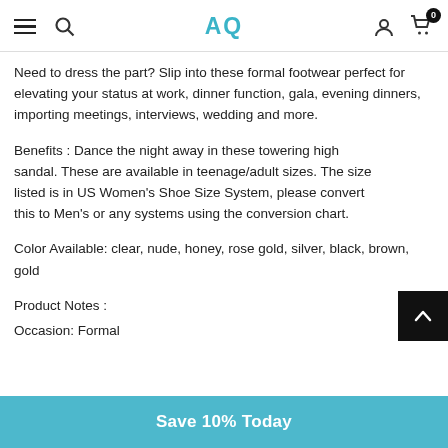AQ
Need to dress the part? Slip into these formal footwear perfect for elevating your status at work, dinner function, gala, evening dinners, importing meetings, interviews, wedding and more.
Benefits : Dance the night away in these towering high sandal. These are available in teenage/adult sizes. The size listed is in US Women's Shoe Size System, please convert this to Men's or any systems using the conversion chart.
Color Available: clear, nude, honey, rose gold, silver, black, brown, gold
Product Notes :
Occasion: Formal
Save 10% Today